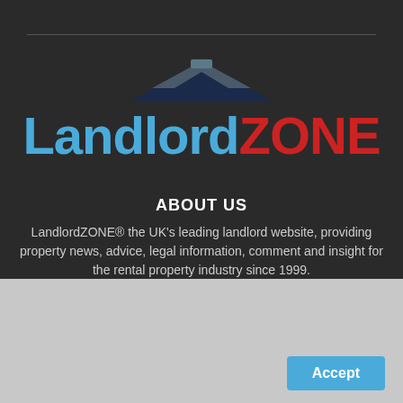[Figure (logo): LandlordZONE logo with roof/house graphic above the text. 'Landlord' in blue, 'ZONE' in red, with a dark navy/grey roof shape above.]
ABOUT US
LandlordZONE® the UK's leading landlord website, providing property news, advice, legal information, comment and insight for the rental property industry since 1999.
This website uses cookies to improve your experience.
To accept our cookies, continue browsing as normal.